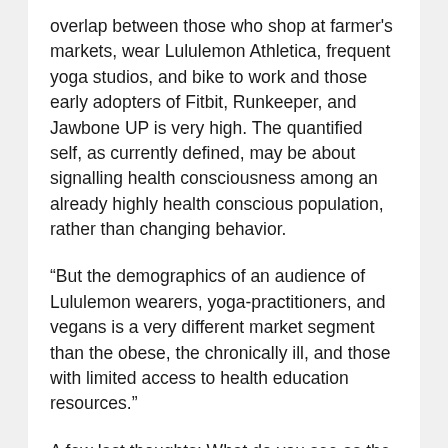overlap between those who shop at farmer's markets, wear Lululemon Athletica, frequent yoga studios, and bike to work and those early adopters of Fitbit, Runkeeper, and Jawbone UP is very high. The quantified self, as currently defined, may be about signalling health consciousness among an already highly health conscious population, rather than changing behavior.
“But the demographics of an audience of Lululemon wearers, yoga-practitioners, and vegans is a very different market segment than the obese, the chronically ill, and those with limited access to health education resources.”
A few last thoughts: What do you see as the fit?